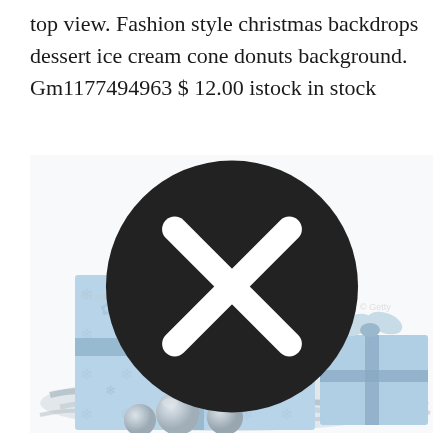top view. Fashion style christmas backdrops dessert ice cream cone donuts background. Gm1177494963 $ 12.00 istock in stock
[Figure (photo): Photo of two light blue Christmas gift boxes wrapped with silver ribbon and bow, surrounded by silver tinsel, ornament balls, and snowflake decorations on a white background. Watermark visible.]